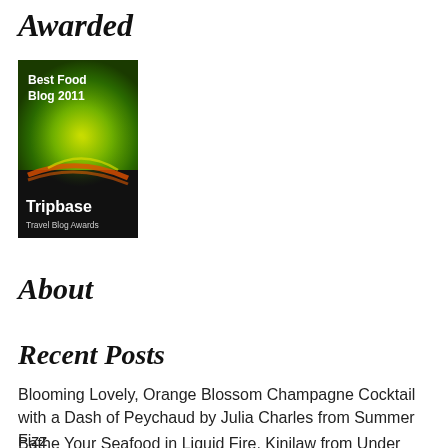Awarded
[Figure (logo): Tripbase Travel Blog Awards badge — Best Food Blog 2011, green swirl design with 'Tripbase Travel Blog Awards' text on dark background]
About
Recent Posts
Blooming Lovely, Orange Blossom Champagne Cocktail with a Dash of Peychaud by Julia Charles from Summer Fizz
Bathe Your Seafood in Liquid Fire, Kinilaw from Under